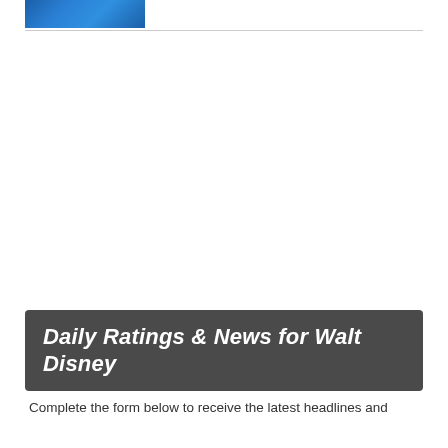[Figure (photo): A partial photo showing a blue-themed surface or object, cropped at the top of the page]
Daily Ratings & News for Walt Disney
Complete the form below to receive the latest headlines and